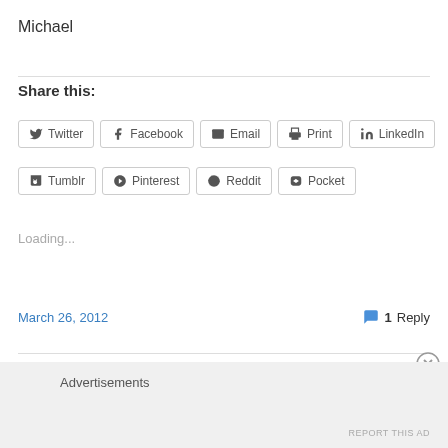Michael
Share this:
[Figure (screenshot): Social sharing buttons: Twitter, Facebook, Email, Print, LinkedIn (row 1); Tumblr, Pinterest, Reddit, Pocket (row 2)]
Loading...
March 26, 2012
1 Reply
Advertisements
REPORT THIS AD